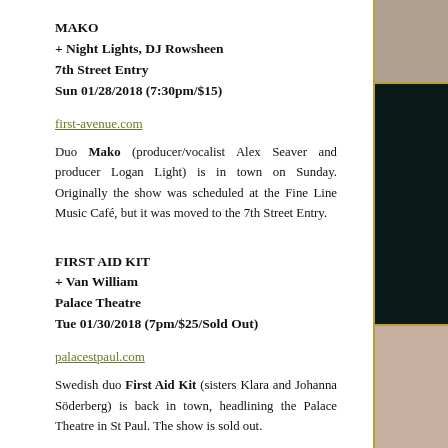MAKO
+ Night Lights, DJ Rowsheen
7th Street Entry
Sun 01/28/2018 (7:30pm/$15)
first-avenue.com
Duo Mako (producer/vocalist Alex Seaver and producer Logan Light) is in town on Sunday. Originally the show was scheduled at the Fine Line Music Café, but it was moved to the 7th Street Entry.
FIRST AID KIT
+ Van William
Palace Theatre
Tue 01/30/2018 (7pm/$25/Sold Out)
palacestpaul.com
Swedish duo First Aid Kit (sisters Klara and Johanna Söderberg) is back in town, headlining the Palace Theatre in St Paul. The show is sold out.
Van William to open.
01/24 Oakland, CA Fox Theater*
01/26 Portland, OR Roseland Theater*